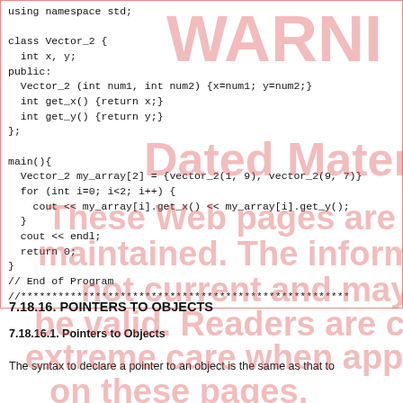using namespace std;

class Vector_2 {
  int x, y;
public:
  Vector_2 (int num1, int num2) {x=num1; y=num2;}
  int get_x() {return x;}
  int get_y() {return y;}
};

main(){
  Vector_2 my_array[2] = {vector_2(1, 9), vector_2(9, 7)}
  for (int i=0; i<2; i++) {
    cout << my_array[i].get_x() << my_array[i].get_y();
  }
  cout << endl;
  return 0;
}
// End of Program
//*********************************************************
7.18.16. POINTERS TO OBJECTS
7.18.16.1. Pointers to Objects
The syntax to declare a pointer to an object is the same as that to